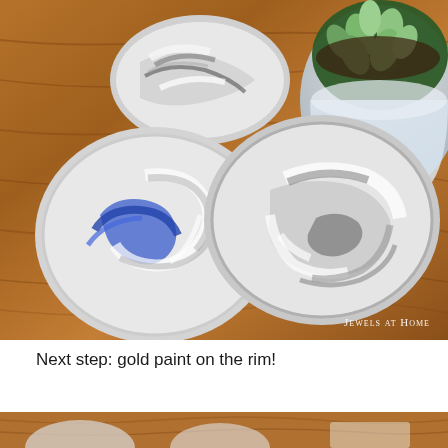[Figure (photo): Marbled clay or resin dishes with swirled black, white, grey, and blue patterns placed on a wood surface. Also visible is a white pot with a succulent plant. A watermark reads 'Jewels at Home' in the bottom right corner.]
Next step: gold paint on the rim!
[Figure (photo): Partial view of a bottom strip showing a similar crafting or art scene.]